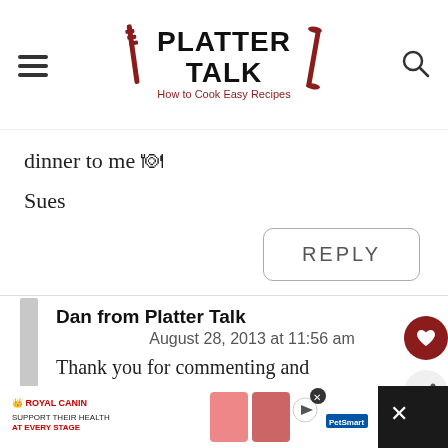PLATTER TALK - How to Cook Easy Recipes
dinner to me 🍽
Sues
REPLY
Dan from Platter Talk
August 28, 2013 at 11:56 am
Thank you for commenting and
[Figure (screenshot): Ad banner for Royal Canin at bottom of page, showing pet food products and PetSmart branding]